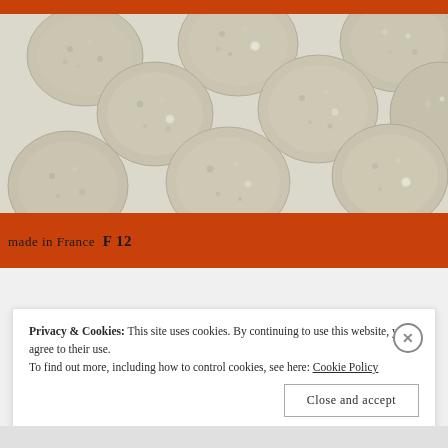[Figure (photo): Overhead photo of round oatmeal/lace cookies baked on a silicone baking mat (Silpat) with orange border reading 'made in France F 12' on a light beige/cream mat surface. Multiple round flat cookies arranged in rows.]
Privacy & Cookies: This site uses cookies. By continuing to use this website, you agree to their use.
To find out more, including how to control cookies, see here: Cookie Policy
Close and accept